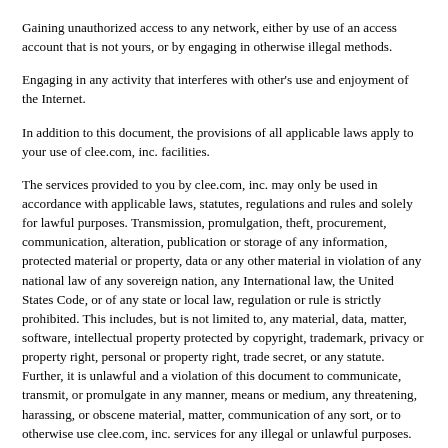Gaining unauthorized access to any network, either by use of an access account that is not yours, or by engaging in otherwise illegal methods.
Engaging in any activity that interferes with other's use and enjoyment of the Internet.
In addition to this document, the provisions of all applicable laws apply to your use of clee.com, inc. facilities.
The services provided to you by clee.com, inc. may only be used in accordance with applicable laws, statutes, regulations and rules and solely for lawful purposes. Transmission, promulgation, theft, procurement, communication, alteration, publication or storage of any information, protected material or property, data or any other material in violation of any national law of any sovereign nation, any International law, the United States Code, or of any state or local law, regulation or rule is strictly prohibited. This includes, but is not limited to, any material, data, matter, software, intellectual property protected by copyright, trademark, privacy or property right, personal or property right, trade secret, or any statute. Further, it is unlawful and a violation of this document to communicate, transmit, or promulgate in any manner, means or medium, any threatening, harassing, or obscene material, matter, communication of any sort, or to otherwise use clee.com, inc. services for any illegal or unlawful purposes.
You agree that you will indemnify and hold harmless clee.com, inc., its owners, officers, shareholders, agents, employees and its other subscribers from any and all claims, costs, expenses, judgments, causes of action, attorney fees, litigation and court costs, resulting from use of clee.com, inc. services using your identification in any manner, whether directly or indirectly or by any act of omission or